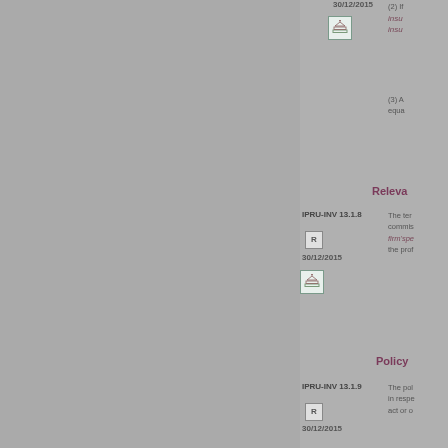30/12/2015
[Figure (illustration): Layered icon in teal-bordered box]
(2) If insu- insu-
(3) A equa
Releva
IPRU-INV 13.1.8
[Figure (illustration): R box indicator]
30/12/2015
[Figure (illustration): Layered icon in teal-bordered box]
The term commis firm'spe the prof
Policy
IPRU-INV 13.1.9
[Figure (illustration): R box indicator]
30/12/2015
The pol in respe act or o